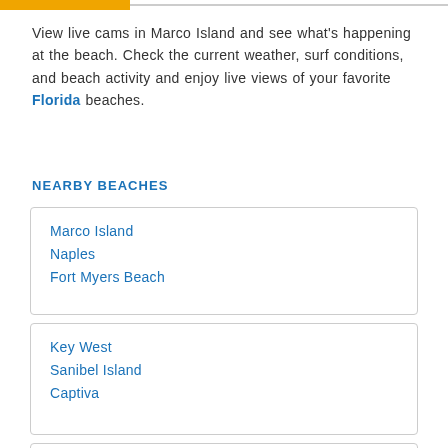View live cams in Marco Island and see what's happening at the beach. Check the current weather, surf conditions, and beach activity and enjoy live views of your favorite Florida beaches.
NEARBY BEACHES
Marco Island
Naples
Fort Myers Beach
Key West
Sanibel Island
Captiva
Estero Island